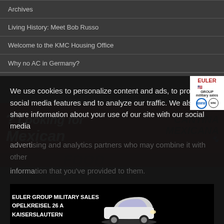Archives
Living History: Meet Bob Russo
Welcome to the KMC Housing Office
Why no AC in Germany?
[Figure (photo): Cantina Mexicana advertisement banner on dark red background with text 'Looking for Mexican...' and Cantina Mexicana logo]
We use cookies to personalize content and ads, to provide social media features and to analyze our traffic. We also share information about your use of our site with our social media adverti... informa...
[Figure (photo): Euler Group Military Sales advertisement - EULER GROUP MILITARY SALES, OPELKREISEL 26 A, KAISERSLAUTERN, with car image and Euler Group logo with BMW and Mini logos]